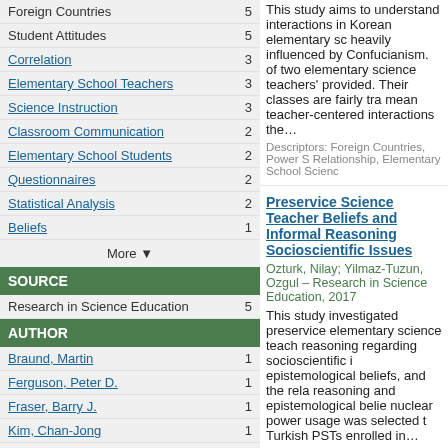Foreign Countries  5
Student Attitudes  5
Correlation  3
Elementary School Teachers  3
Science Instruction  3
Classroom Communication  2
Elementary School Students  2
Questionnaires  2
Statistical Analysis  2
Beliefs  1
More ▼
SOURCE
Research in Science Education  5
AUTHOR
Braund, Martin  1
Ferguson, Peter D.  1
Fraser, Barry J.  1
Kim, Chan-Jong  1
Lee, Jeong-A  1
Leigh, Joanne  1
Ozturk, Nilay  1
Smith, Greg  1
This study aims to understand interactions in Korean elementary sc heavily influenced by Confucianism. of two elementary science teachers' provided. Their classes are fairly tra mean teacher-centered interactions the…
Descriptors: Foreign Countries, Power S Relationship, Elementary School Scienc
Preservice Science Teacher Beliefs and Informal Reasoning Socioscientific Issues
Ozturk, Nilay; Yilmaz-Tuzun, Ozgul – Research in Science Education, 2017
This study investigated preservice elementary science teach reasoning regarding socioscientific i epistemological beliefs, and the rela reasoning and epistemological belie nuclear power usage was selected t Turkish PSTs enrolled in…